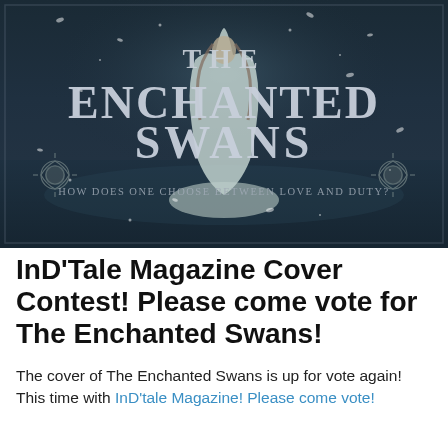[Figure (illustration): Book cover for 'The Enchanted Swans' showing a woman in a flowing white gown on a dark water background with falling petals. Large ornate serif text reads 'THE ENCHANTED SWANS'. Subtitle reads 'How does one choose between love and duty?' with decorative Celtic knot ornaments on either side.]
InD'Tale Magazine Cover Contest! Please come vote for The Enchanted Swans!
The cover of The Enchanted Swans is up for vote again! This time with InD'tale Magazine! Please come vote!